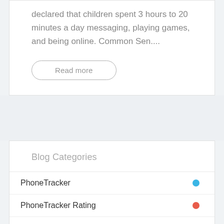declared that children spent 3 hours to 20 minutes a day messaging, playing games, and being online. Common Sen....
Read more
Blog Categories
PhoneTracker
PhoneTracker Rating
PhoneTracker Info
PhoneTracker Android Apps